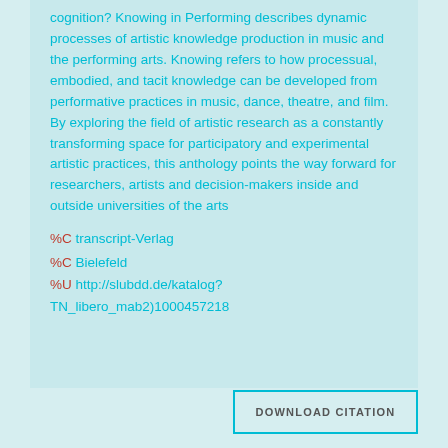cognition? Knowing in Performing describes dynamic processes of artistic knowledge production in music and the performing arts. Knowing refers to how processual, embodied, and tacit knowledge can be developed from performative practices in music, dance, theatre, and film. By exploring the field of artistic research as a constantly transforming space for participatory and experimental artistic practices, this anthology points the way forward for researchers, artists and decision-makers inside and outside universities of the arts
%C transcript-Verlag
%C Bielefeld
%U http://slubdd.de/katalog?TN_libero_mab2)1000457218
DOWNLOAD CITATION